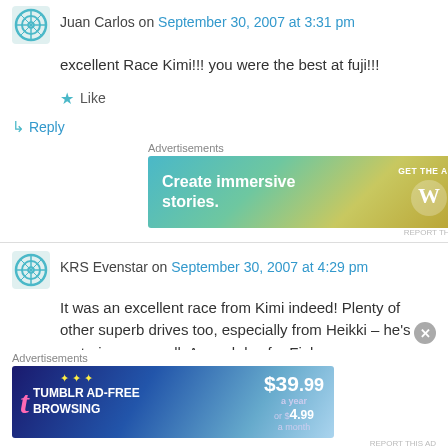Juan Carlos on September 30, 2007 at 3:31 pm
excellent Race Kimi!!! you were the best at fuji!!!
Like
↳ Reply
Advertisements
[Figure (screenshot): WordPress 'Create immersive stories. GET THE APP' advertisement banner with teal-to-gold gradient]
KRS Evenstar on September 30, 2007 at 4:29 pm
It was an excellent race from Kimi indeed! Plenty of other superb drives too, especially from Heikki – he's maturing very well. A good day for Finlan–
Advertisements
[Figure (screenshot): Tumblr Ad-Free Browsing advertisement: $39.99 a year or $4.99 a month, blue gradient banner]